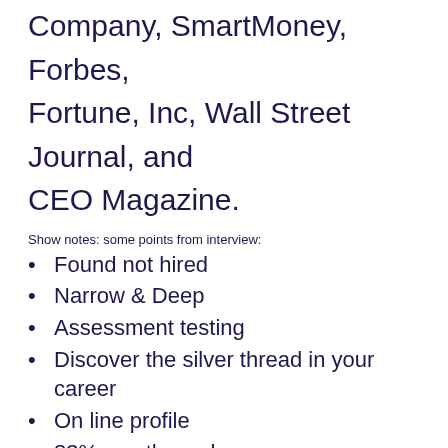Company, SmartMoney, Forbes, Fortune, Inc, Wall Street Journal, and CEO Magazine.
Show notes: some points from interview:
Found not hired
Narrow & Deep
Assessment testing
Discover the silver thread in your career
On line profile
83% use the web
Key words, Kaizen and your search
Six degrees of separation
LIFO – last in, first up on the web
500 connections
Groups